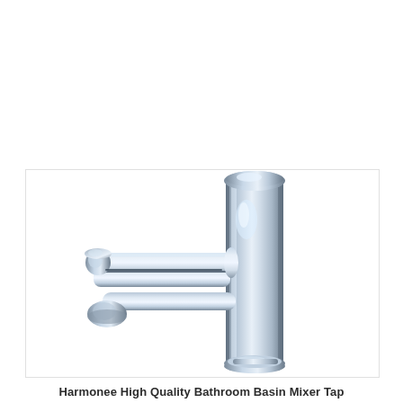[Figure (photo): A chrome bathroom basin mixer tap (faucet) with a cylindrical body, a horizontal flat lever handle extending to the left, and a spout. The tap has a polished chrome finish and is photographed on a white background.]
Harmonee High Quality Bathroom Basin Mixer Tap